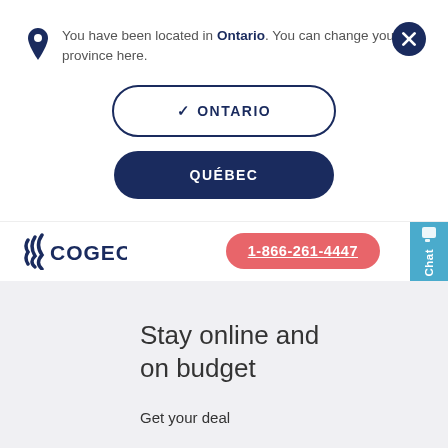You have been located in Ontario. You can change your province here.
✓ ONTARIO
QUÉBEC
[Figure (logo): Cogeco logo with stylized wave icon and COGECO text in dark blue]
1-866-261-4447
Chat
Stay online and on budget
Get your deal